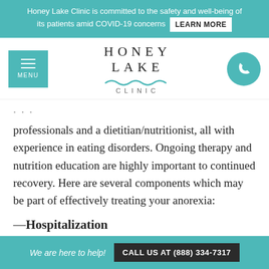Honey Lake Clinic is committed to the safety and well-being of its patients amid COVID-19 concerns  LEARN MORE
[Figure (logo): Honey Lake Clinic logo with menu hamburger icon, teal wave graphic, and phone button]
... professionals and a dietitian/nutritionist, all with experience in eating disorders. Ongoing therapy and nutrition education are highly important to continued recovery. Here are several components which may be part of effectively treating your anorexia:
—Hospitalization
If your life is in immediate danger, you may need treatment in a hospital emergency room for such
We are here to help!  CALL US AT (888) 334-7317